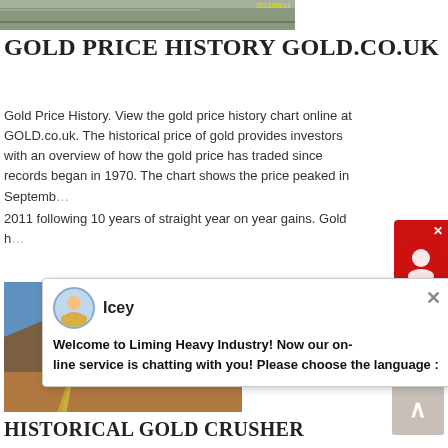[Figure (photo): Partial top photo showing outdoor industrial scene with timestamp 2012/08/11]
GOLD PRICE HISTORY GOLD.CO.UK
Gold Price History. View the gold price history chart online at GOLD.co.uk. The historical price of gold provides investors with an overview of how the gold price has traded since records began in 1970. The chart shows the price peaked in September 2011 following 10 years of straight year on year gains. Gold h...
[Figure (screenshot): Chat widget popup from Liming Heavy Industry with avatar named Icey and message: Welcome to Liming Heavy Industry! Now our on-line service is chatting with you! Please choose the language:]
[Figure (photo): Industrial gold crusher mining facility with yellow steel structures, conveyor belts, blue sky and mountainous terrain]
HISTORICAL GOLD CRUSHER ATA FINCH